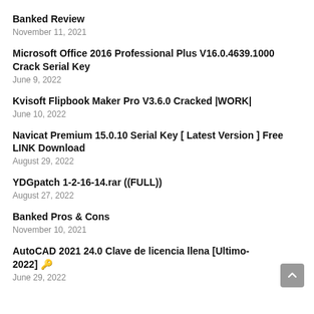Banked Review
November 11, 2021
Microsoft Office 2016 Professional Plus V16.0.4639.1000 Crack Serial Key
June 9, 2022
Kvisoft Flipbook Maker Pro V3.6.0 Cracked |WORK|
June 10, 2022
Navicat Premium 15.0.10 Serial Key [ Latest Version ] Free LINK Download
August 29, 2022
YDGpatch 1-2-16-14.rar ((FULL))
August 27, 2022
Banked Pros & Cons
November 10, 2021
AutoCAD 2021 24.0 Clave de licencia llena [Ultimo-2022] 🔑
June 29, 2022